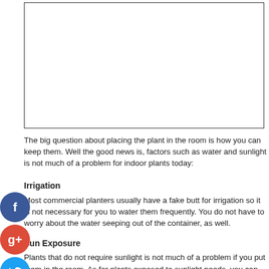[Figure (other): Empty white rectangle with border, likely placeholder for an image of indoor plants or planters]
The big question about placing the plant in the room is how you can keep them. Well the good news is, factors such as water and sunlight is not much of a problem for indoor plants today:
Irrigation
Most commercial planters usually have a fake butt for irrigation so it is not necessary for you to water them frequently. You do not have to worry about the water seeping out of the container, as well.
Sun Exposure
Plants that do not require sunlight is not much of a problem if you put them in the room. As for plants exposed to sunlight needs, you can place them near windows or in spaces where direct sunlight can enter into the house.
There is a wide selection of indoor and outdoor planters that you can